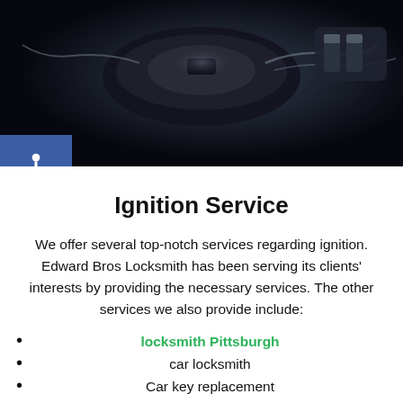[Figure (photo): Close-up dark photo of a car ignition key/cylinder, dark metallic tones with blue-black background]
Ignition Service
We offer several top-notch services regarding ignition. Edward Bros Locksmith has been serving its clients' interests by providing the necessary services. The other services we also provide include:
locksmith Pittsburgh
car locksmith
Car key replacement
Do you want to boost the performance of your automobile? Then, contact us and let our experts who